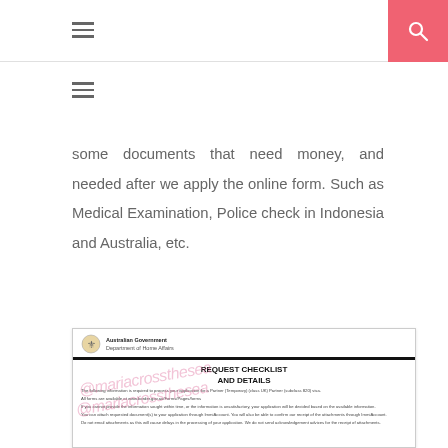Navigation menu and search bar
some documents that need money, and needed after we apply the online form. Such as Medical Examination, Police check in Indonesia and Australia, etc.
[Figure (screenshot): Australian Government Department of Home Affairs - REQUEST CHECKLIST AND DETAILS document with watermark overlay]